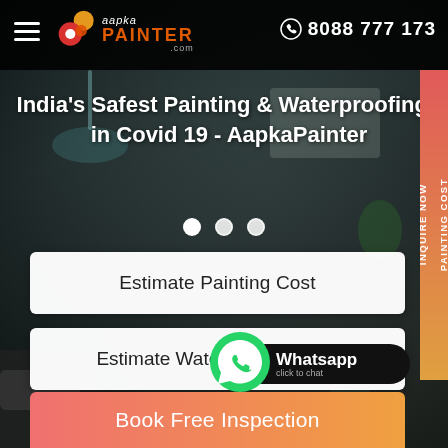[Figure (screenshot): AapkaPainter website screenshot showing dark interior room background with header, hero title, carousel dots, sidebar, two estimate buttons, whatsapp button, and book free inspection button]
aapka PAINTER .com  8088 777 173
India's Safest Painting & Waterproofing - in Covid 19 - AapkaPainter
Estimate Painting Cost
Estimate Waterproofing Cost
Whatsapp click to chat
Book Free Inspection